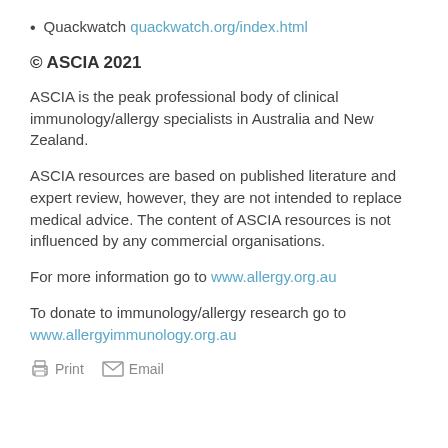Quackwatch quackwatch.org/index.html
© ASCIA 2021
ASCIA is the peak professional body of clinical immunology/allergy specialists in Australia and New Zealand.
ASCIA resources are based on published literature and expert review, however, they are not intended to replace medical advice. The content of ASCIA resources is not influenced by any commercial organisations.
For more information go to www.allergy.org.au
To donate to immunology/allergy research go to www.allergyimmunology.org.au
Print  Email